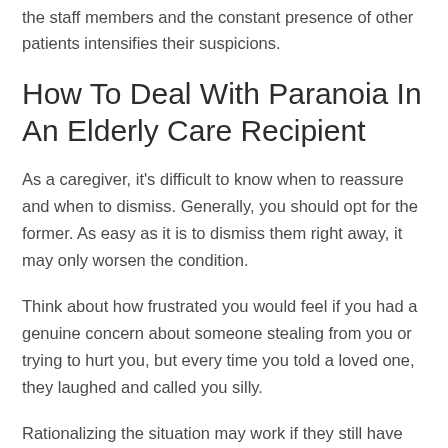the staff members and the constant presence of other patients intensifies their suspicions.
How To Deal With Paranoia In An Elderly Care Recipient
As a caregiver, it’s difficult to know when to reassure and when to dismiss. Generally, you should opt for the former. As easy as it is to dismiss them right away, it may only worsen the condition.
Think about how frustrated you would feel if you had a genuine concern about someone stealing from you or trying to hurt you, but every time you told a loved one, they laughed and called you silly.
Rationalizing the situation may work if they still have their